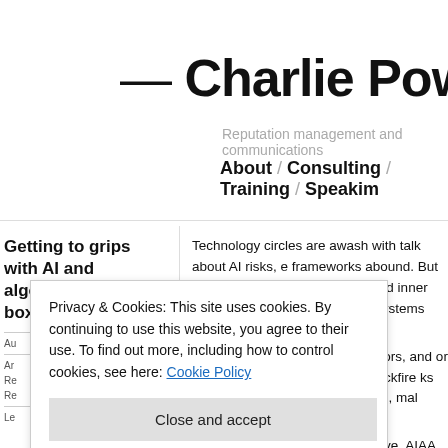— Charlie Powna
Reputation management and communications
About / Consulting / Training / Speaking
Getting to grips with AI and algorithmic black boxes
Technology circles are awash with talk about AI risks, e... frameworks abound. But these are proving awkward in... and inner workings of AI and algorithmic systems can e...
...ers, auditors, regulators, legislators, and... or what their impact is until they backfire... ks or backlashes, white-hat hackers, mal... igation.
...nt, nonpartisan, non-profit initiative, AIAA... algorithmic and automation transparen...
...AAIC believes that everyone should kno... nudged, instructed, or coerced by an AI or algorithmic...
Privacy & Cookies: This site uses cookies. By continuing to use this website, you agree to their use. To find out more, including how to control cookies, see here: Cookie Policy